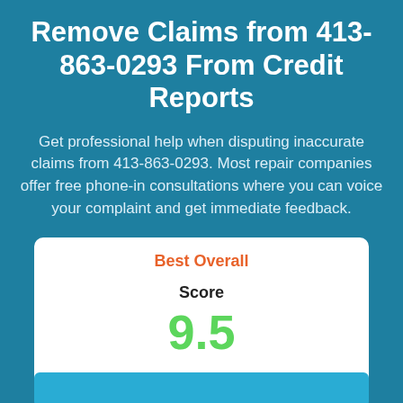Remove Claims from 413-863-0293 From Credit Reports
Get professional help when disputing inaccurate claims from 413-863-0293. Most repair companies offer free phone-in consultations where you can voice your complaint and get immediate feedback.
Best Overall
Score
9.5